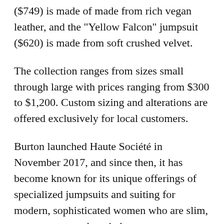($749) is made of made from rich vegan leather, and the "Yellow Falcon" jumpsuit ($620) is made from soft crushed velvet.
The collection ranges from sizes small through large with prices ranging from $300 to $1,200. Custom sizing and alterations are offered exclusively for local customers.
Burton launched Haute Société in November 2017, and since then, it has become known for its unique offerings of specialized jumpsuits and suiting for modern, sophisticated women who are slim, curvy, or somewhere in between.
Burton is the wife and creative director to highly acclaimed fashion photographer Kauwauane Burton.
"On a trip to refresh her wardrobe, she realized that the